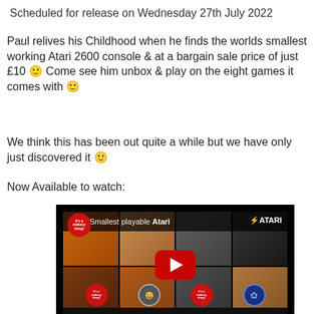Scheduled for release on Wednesday 27th July 2022
Paul relives his Childhood when he finds the worlds smallest working Atari 2600 console & at a bargain sale price of just £10 🙂 Come see him unbox & play on the eight games it comes with 🙂
We think this has been out quite a while but we have only just discovered it 🙂
Now Available to watch:
[Figure (screenshot): YouTube video thumbnail showing 'Smallest playable Atari' with collage of gaming content, red YouTube play button in center, channel badge reading 'It's a stakesy thing!' on top left, Atari logo top right.]